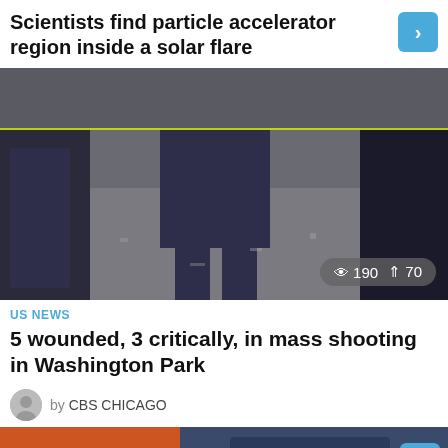Scientists find particle accelerator region inside a solar flare
[Figure (photo): Crime scene photo showing police officers' legs near yellow police tape on a street, viewed from above]
190  70
US NEWS
5 wounded, 3 critically, in mass shooting in Washington Park
by CBS CHICAGO
[Figure (photo): Partial view of a vehicle and street scene with orange text reading 'opera']